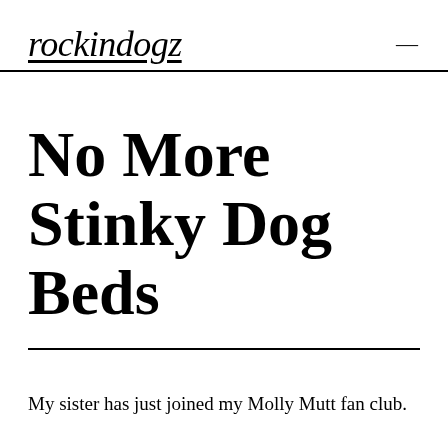rockindogz
No More Stinky Dog Beds
My sister has just joined my Molly Mutt fan club.